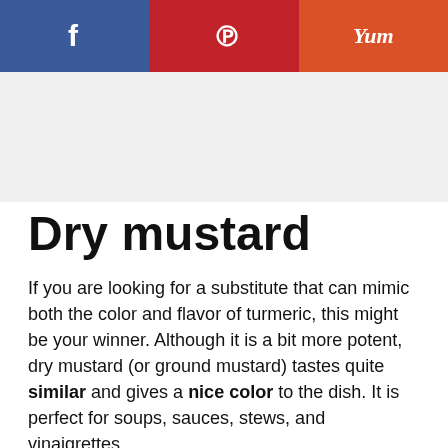[Figure (infographic): Social sharing bar with three buttons: Facebook (blue), Pinterest (red), Yummly (orange-red)]
[Figure (photo): Image placeholder area for a food photo (dry mustard)]
Dry mustard
If you are looking for a substitute that can mimic both the color and flavor of turmeric, this might be your winner. Although it is a bit more potent, dry mustard (or ground mustard) tastes quite similar and gives a nice color to the dish. It is perfect for soups, sauces, stews, and vinaigrettes.